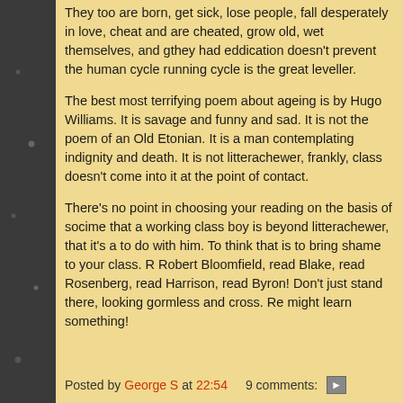They too are born, get sick, lose people, fall desperately in love, cheat and are cheated, grow old, wet themselves, and they had eddication doesn't prevent the human cycle running. cycle is the great leveller.
The best most terrifying poem about ageing is by Hugo Williams. It is savage and funny and sad. It is not the poem of an Old Etonian. It is a man contemplating indignity and death. It is not litterachewer, frankly, class doesn't come into it at the point of contact.
There's no point in choosing your reading on the basis of class. Don't tell me that a working class boy is beyond litterachewer, that it's a nothing to do with him. To think that is to bring shame to your class. Read Robert Bloomfield, read Blake, read Rosenberg, read Harrison, read Byron! Don't just stand there, looking gormless and cross. Read! You might learn something!
Posted by George S at 22:54   9 comments: